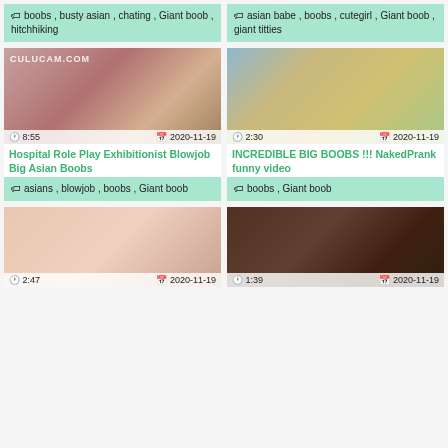boobs , busty asian , chating , Giant boob , hitchhiking
asian babe , boobs , cutegirl , Giant boob , giant titties
[Figure (photo): Video thumbnail - hospital scene with Asian woman, watermark CULUCAM.COM, duration 8:55, date 2020-11-19]
[Figure (photo): Video thumbnail - outdoor scene with women walking, duration 2:30, date 2020-11-19]
Hospital Role Play Exhibitionist Blowjob Big Asian Boobs
INCREDIBLE BIG BOOBS !!! NakedPrank funny video
asians , blowjob , boobs , Giant boob
boobs , Giant boob
[Figure (photo): Video thumbnail - close up skin/body, duration 2:47, date 2020-11-19]
[Figure (photo): Video thumbnail - dark scene with body close up, duration 1:39, date 2020-11-19]